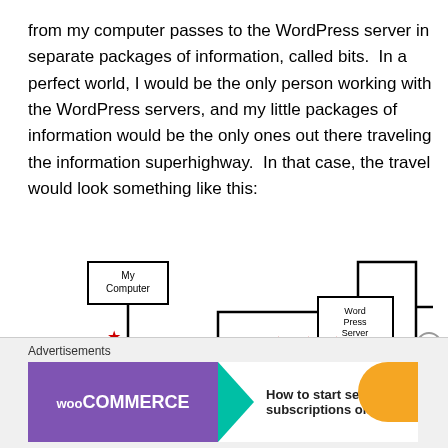from my computer passes to the WordPress server in separate packages of information, called bits.  In a perfect world, I would be the only person working with the WordPress servers, and my little packages of information would be the only ones out there traveling the information superhighway.  In that case, the travel would look something like this:
[Figure (flowchart): A network diagram showing 'My Computer' box on the left connected via lines with red star markers to two large squares in the center, which connect to a 'Word Press Server' box on the right, illustrating data packet travel on the internet.]
Advertisements — WooCommerce: How to start selling subscriptions online